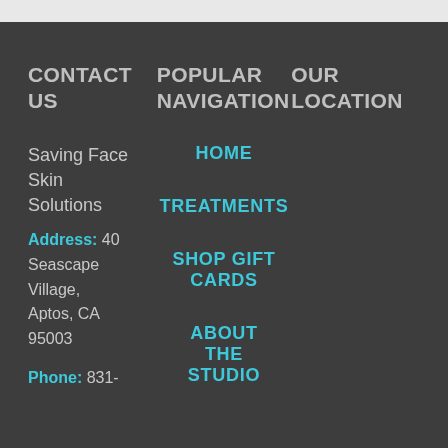CONTACT US
POPULAR NAVIGATION
OUR LOCATION
Saving Face Skin Solutions
Address: 40 Seascape Village, Aptos, CA 95003
Phone: 831-
HOME
TREATMENTS
SHOP GIFT CARDS
ABOUT THE STUDIO